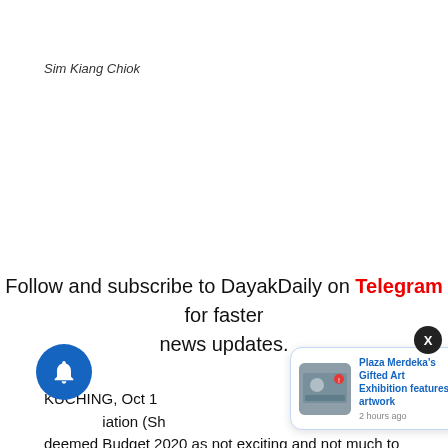Sim Kiang Chiok
Follow and subscribe to DayakDaily on Telegram for faster news updates.
KUCHING, Oct 1... deemed Budget 2020 as not exciting and not much to
[Figure (screenshot): Notification popup card showing 'Plaza Merdeka's Gifted Art Exhibition features artwork' with a thumbnail image and '2 hours ago' timestamp, plus a dark circular close button (X), and a blue notification bell with red badge showing '3'.]